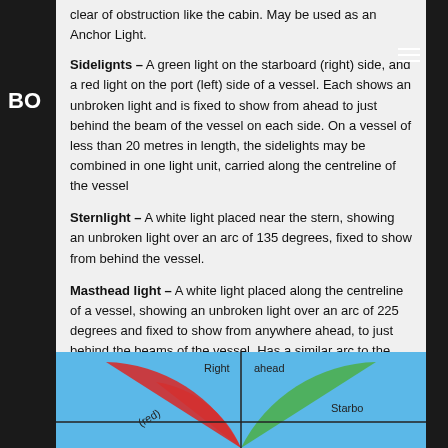clear of obstruction like the cabin. May be used as an Anchor Light.
Sidelignts – A green light on the starboard (right) side, and a red light on the port (left) side of a vessel. Each shows an unbroken light and is fixed to show from ahead to just behind the beam of the vessel on each side. On a vessel of less than 20 metres in length, the sidelights may be combined in one light unit, carried along the centreline of the vessel
Sternlight – A white light placed near the stern, showing an unbroken light over an arc of 135 degrees, fixed to show from behind the vessel.
Masthead light – A white light placed along the centreline of a vessel, showing an unbroken light over an arc of 225 degrees and fixed to show from anywhere ahead, to just behind the beams of the vessel. Has a similar arc to the sidelights combined.
[Figure (illustration): Diagram showing vessel navigation light arcs from above. Blue background with red (port) and green (starboard) semicircle arcs. Labels: Right, ahead, (red), Starbo. Vertical and horizontal lines cross at center.]